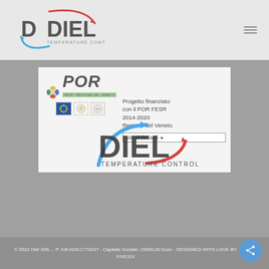[Figure (logo): Diel Temperature Control logo in header - grey background, DIEL text with red and blue curved arrows]
[Figure (screenshot): Banner showing POR FESR 2014-2020 Regione del Veneto project funding information, with EU logos and Diel logo overlay. Text: 'Progetto finanziato con il POR FESR 2014-2020 Regione del Veneto'. Button: 'Vai ai dettagli']
© 2022 Diel SRL. - P. IVA 02411770247 - Capitale Sociale: 15600,00 Euro - DESIGNED WITH LOVE BY FIVESIX